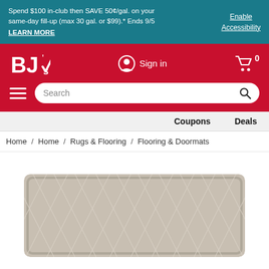Spend $100 in-club then SAVE 50¢/gal. on your same-day fill-up (max 30 gal. or $99).* Ends 9/5 LEARN MORE
Enable Accessibility
[Figure (logo): BJ's Wholesale Club logo in white on red background]
Sign in
0
Search
Coupons
Deals
Home / Home / Rugs & Flooring / Flooring & Doormats
[Figure (photo): A light beige/tan rug with a diamond/lattice pattern, partially visible at the bottom of the page]